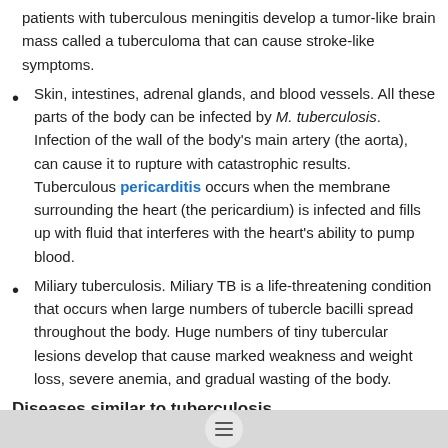patients with tuberculous meningitis develop a tumor-like brain mass called a tuberculoma that can cause stroke-like symptoms.
Skin, intestines, adrenal glands, and blood vessels. All these parts of the body can be infected by M. tuberculosis. Infection of the wall of the body's main artery (the aorta), can cause it to rupture with catastrophic results. Tuberculous pericarditis occurs when the membrane surrounding the heart (the pericardium) is infected and fills up with fluid that interferes with the heart's ability to pump blood.
Miliary tuberculosis. Miliary TB is a life-threatening condition that occurs when large numbers of tubercle bacilli spread throughout the body. Huge numbers of tiny tubercular lesions develop that cause marked weakness and weight loss, severe anemia, and gradual wasting of the body.
Diseases similar to tuberculosis
There are many forms of mycobacteria other than M. tuberculosis, the tubercle bacillus. Some cause infections that may closely resemble